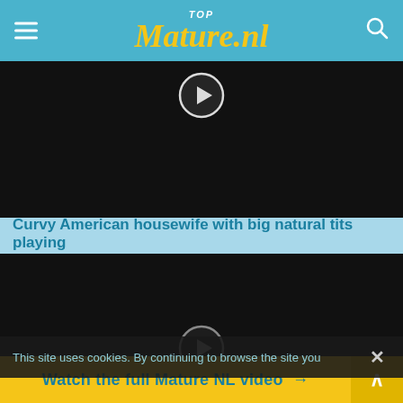TOP Mature.nl
[Figure (screenshot): Black video thumbnail with play button circle icon visible at top center]
Curvy American housewife with big natural tits playing
[Figure (screenshot): Black video thumbnail with play button icon partially visible]
This site uses cookies. By continuing to browse the site you
Watch the full Mature NL video →